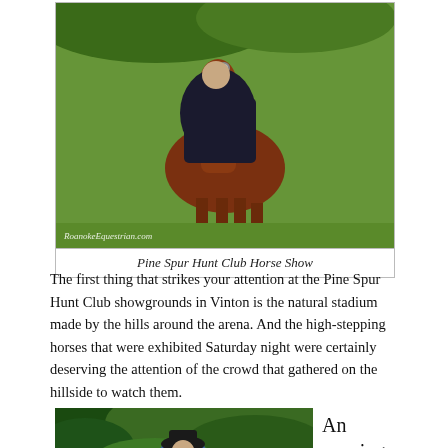[Figure (photo): A person in dark clothing riding a bay horse with decorative bridle at a horse show, green grass background. Watermark: RoanokeEquestrian.com]
Pine Spur Hunt Club Horse Show
The first thing that strikes your attention at the Pine Spur Hunt Club showgrounds in Vinton is the natural stadium made by the hills around the arena. And the high-stepping horses that were exhibited Saturday night were certainly deserving the attention of the crowd that gathered on the hillside to watch them.
[Figure (photo): A person in blue jacket and black hat riding a horse, surrounded by green foliage.]
An evening